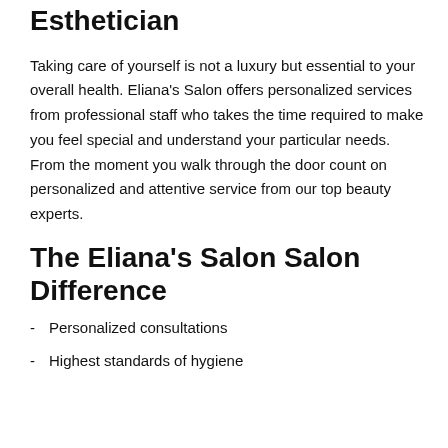We Understand What You Want from an Esthetician
Taking care of yourself is not a luxury but essential to your overall health. Eliana's Salon offers personalized services from professional staff who takes the time required to make you feel special and understand your particular needs. From the moment you walk through the door count on personalized and attentive service from our top beauty experts.
The Eliana's Salon Salon Difference
Personalized consultations
Highest standards of hygiene